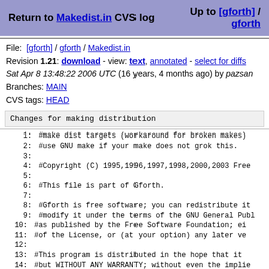Return to Makedist.in CVS log    Up to [gforth] / gforth
File: [gforth] / gforth / Makedist.in
Revision 1.21: download - view: text, annotated - select for diffs
Sat Apr 8 13:48:22 2006 UTC (16 years, 4 months ago) by pazsan
Branches: MAIN
CVS tags: HEAD
Changes for making distribution
1:  #make dist targets (workaround for broken makes)
2:  #use GNU make if your make does not grok this.
3:
4:  #Copyright (C) 1995,1996,1997,1998,2000,2003 Free
5:
6:  #This file is part of Gforth.
7:
8:  #Gforth is free software; you can redistribute it
9:  #modify it under the terms of the GNU General Publ
10: #as published by the Free Software Foundation; ei
11: #of the License, or (at your option) any later ve
12:
13: #This program is distributed in the hope that it
14: #but WITHOUT ANY WARRANTY; without even the implie
15: #MERCHANTABILITY or FITNESS FOR A PARTICULAR PURPO